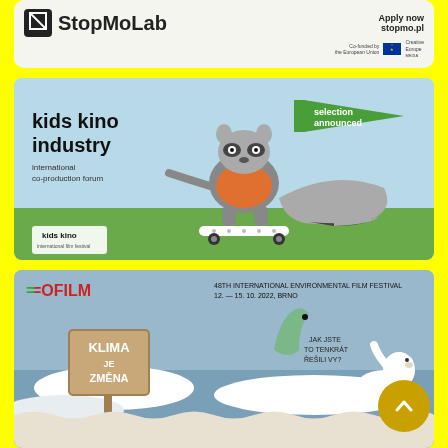[Figure (illustration): StopMoLab advertisement banner with logo, 'Apply now stopmo.pl' text, and European Union Creative Europe co-funding logos]
[Figure (illustration): Kids Kino Industry international co-production forum banner featuring an illustrated raccoon skateboarding, with 'selection announced' text on a green flag banner]
[Figure (illustration): EcoFilm 48th International Environmental Film Festival banner, 12-15.10.2022 Brno, featuring text 'KLIMA JE ZMENA' on wooden sign and polar bears with dinosaur, text 'JAK JSTE TO TENKRAT RESILI VY?' and 'VSTUPNE' at bottom]